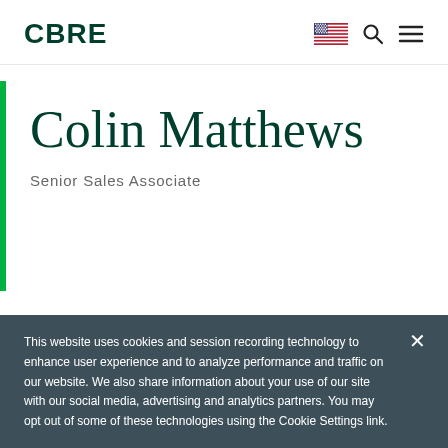CBRE
Colin Matthews
Senior Sales Associate
This website uses cookies and session recording technology to enhance user experience and to analyze performance and traffic on our website. We also share information about your use of our site with our social media, advertising and analytics partners. You may opt out of some of these technologies using the Cookie Settings link.